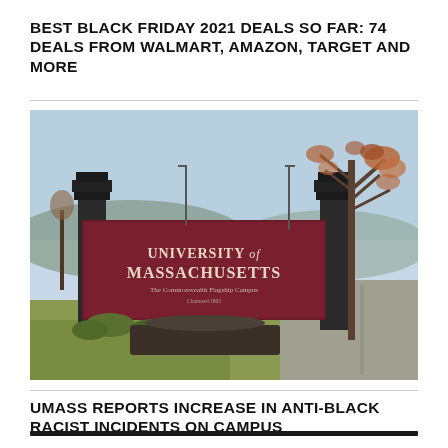BEST BLACK FRIDAY 2021 DEALS SO FAR: 74 DEALS FROM WALMART, AMAZON, TARGET AND MORE
[Figure (photo): University of Massachusetts entrance sign with brick pillars and a dark maroon sign reading 'UNIVERSITY of MASSACHUSETTS The Commonwealth Flagship Campus', surrounded by bare autumn trees and a grassy area.]
UMASS REPORTS INCREASE IN ANTI-BLACK RACIST INCIDENTS ON CAMPUS